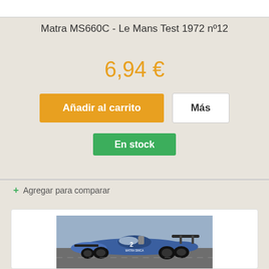Matra MS660C - Le Mans Test 1972 nº12
6,94 €
Añadir al carrito
Más
En stock
+ Agregar para comparar
[Figure (photo): Photo of a Matra MS660C blue and white racing car on track, Le Mans 1972]